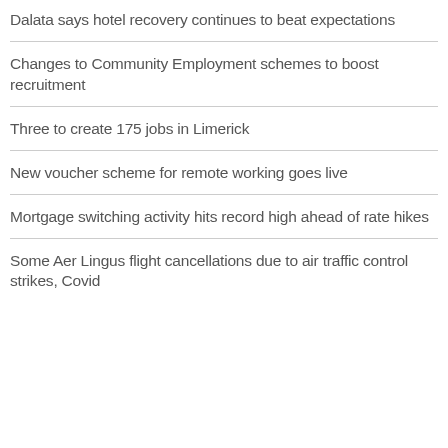Dalata says hotel recovery continues to beat expectations
Changes to Community Employment schemes to boost recruitment
Three to create 175 jobs in Limerick
New voucher scheme for remote working goes live
Mortgage switching activity hits record high ahead of rate hikes
Some Aer Lingus flight cancellations due to air traffic control strikes, Covid